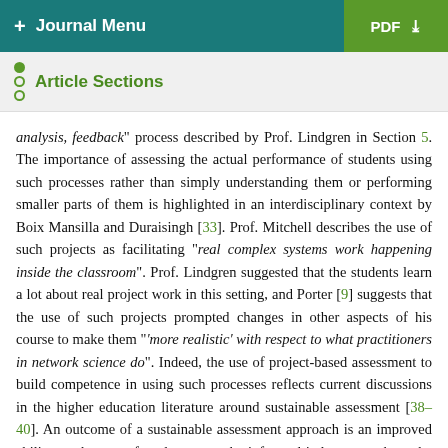+ Journal Menu  PDF ↓
Article Sections
analysis, feedback" process described by Prof. Lindgren in Section 5. The importance of assessing the actual performance of students using such processes rather than simply understanding them or performing smaller parts of them is highlighted in an interdisciplinary context by Boix Mansilla and Duraisingh [33]. Prof. Mitchell describes the use of such projects as facilitating "real complex systems work happening inside the classroom". Prof. Lindgren suggested that the students learn a lot about real project work in this setting, and Porter [9] suggests that the use of such projects prompted changes in other aspects of his course to make them "'more realistic' with respect to what practitioners in network science do". Indeed, the use of project-based assessment to build competence in using such processes reflects current discussions in the higher education literature around sustainable assessment [38–40]. An outcome of a sustainable assessment approach is an improved ability on the part of students to make informed judgements about the quality of their own work [39] which here could include applicability of the